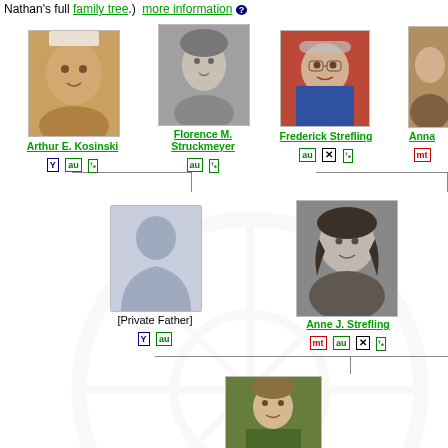Nathan's full family tree.) more information ?
[Figure (organizational-chart): Family tree showing Arthur E. Kosinski and Florence M. Struckmeyer as one couple, Frederick Strefling and Anna as another couple, their children being [Private Father] and Anne J. Strefling, with a child photo at the bottom.]
Arthur E. Kosinski Y au [tree]
Florence M. Struckmeyer au [tree]
Frederick Strefling au X [tree]
Anna mt [...]
[Private Father] Y au
Anne J. Strefling mt au X [tree]